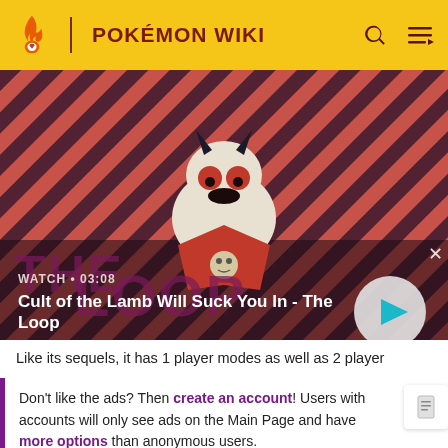POKÉMON WIKI
[Figure (screenshot): Video thumbnail for 'Cult of the Lamb Will Suck You In - The Loop' showing an animated lamb character with dark horns and red eyes on a diagonal striped red/dark background. Overlay shows WATCH • 03:08 and a play button circle.]
Like its sequels, it has 1 player modes as well as 2 player
Don't like the ads? Then create an account! Users with accounts will only see ads on the Main Page and have more options than anonymous users.